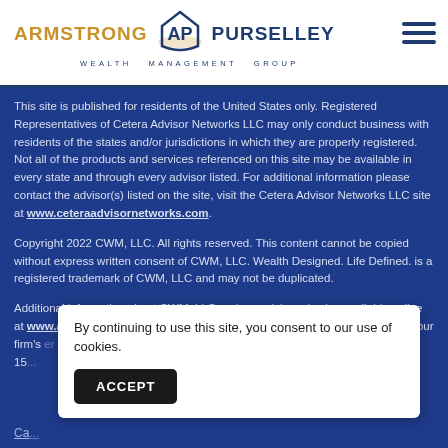ARMSTRONG AP PURSELLEY WEALTH MANAGEMENT GROUP
This site is published for residents of the United States only. Registered Representatives of Cetera Advisor Networks LLC may only conduct business with residents of the states and/or jurisdictions in which they are properly registered. Not all of the products and services referenced on this site may be available in every state and through every advisor listed. For additional information please contact the advisor(s) listed on the site, visit the Cetera Advisor Networks LLC site at www.ceteraadvisornetworks.com.
Copyright 2022 CWM, LLC. All rights reserved. This content cannot be copied without express written consent of CWM, LLC. Wealth Designed. Life Defined. is a registered trademark of CWM, LLC and may not be duplicated.
Additional information about CWM, LLC and our advisors is also available online at www.adviserinfo.sec.gov or https://brokercheck.finra.org/. You can view our firm's 15...
By continuing to use this site, you consent to our use of cookies.
ACCEPT
Ca...